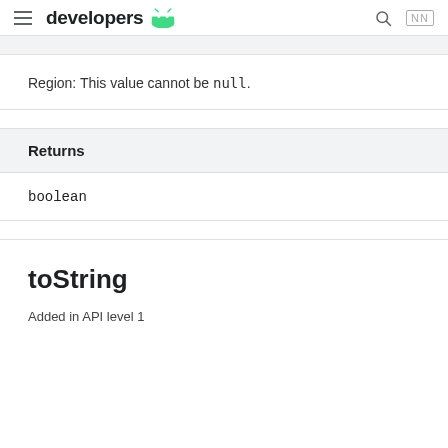developers (Android logo)
Region: This value cannot be null.
| Returns |
| --- |
| boolean |
toString
Added in API level 1